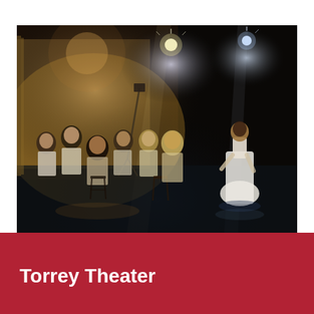[Figure (photo): A dark theater stage with several performers seated in period costume on chairs arranged in a semicircle on the left, and a lone performer in a white dress standing on the right side of the stage. Stage lighting illuminates the scene with warm and cool spotlights.]
Torrey Theater